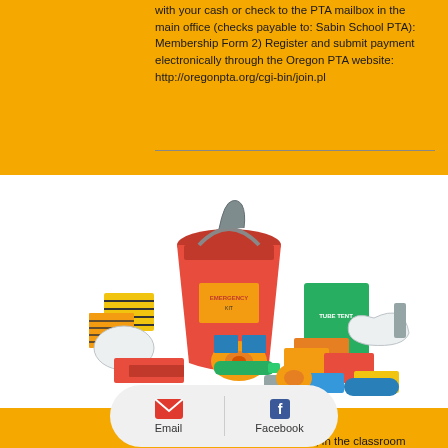with your cash or check to the PTA mailbox in the main office (checks payable to: Sabin School PTA): Membership Form 2) Register and submit payment electronically through the Oregon PTA website: http://oregonpta.org/cgi-bin/join.pl
[Figure (photo): Emergency preparedness kit with red bucket, first aid supplies, and various survival items spread out]
Get Prepared! Come learn what to do at home, in the classroom